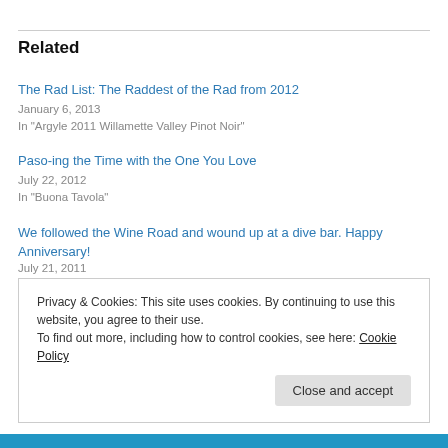Related
The Rad List: The Raddest of the Rad from 2012
January 6, 2013
In "Argyle 2011 Willamette Valley Pinot Noir"
Paso-ing the Time with the One You Love
July 22, 2012
In "Buona Tavola"
We followed the Wine Road and wound up at a dive bar. Happy Anniversary!
July 21, 2011
Privacy & Cookies: This site uses cookies. By continuing to use this website, you agree to their use.
To find out more, including how to control cookies, see here: Cookie Policy
Close and accept